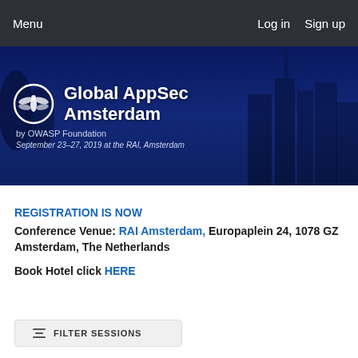Menu   Log in   Sign up
[Figure (illustration): Global AppSec Amsterdam banner by OWASP Foundation. Shows OWASP logo (dragonfly in circle) and text 'Global AppSec Amsterdam by OWASP Foundation' with date 'September 23-27, 2019 at the RAI, Amsterdam' over a blue-tinted cityscape.]
REGISTRATION IS NOW
Conference Venue: RAI Amsterdam, Europaplein 24, 1078 GZ Amsterdam, The Netherlands
Book Hotel click HERE